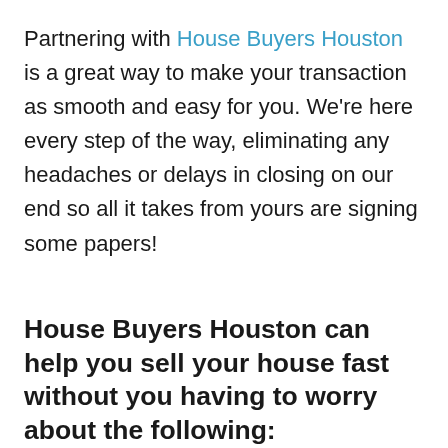Partnering with House Buyers Houston is a great way to make your transaction as smooth and easy for you. We're here every step of the way, eliminating any headaches or delays in closing on our end so all it takes from yours are signing some papers!
House Buyers Houston can help you sell your house fast without you having to worry about the following: